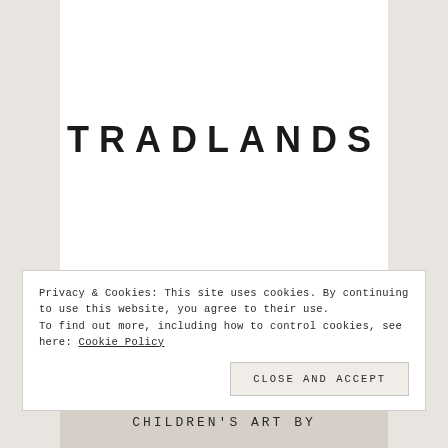[Figure (logo): TRADLANDS wordmark logo in bold sans-serif uppercase lettering with wide letter-spacing, centered on white background]
Privacy & Cookies: This site uses cookies. By continuing to use this website, you agree to their use.
To find out more, including how to control cookies, see here: Cookie Policy
Close and accept
CHILDREN'S ART BY